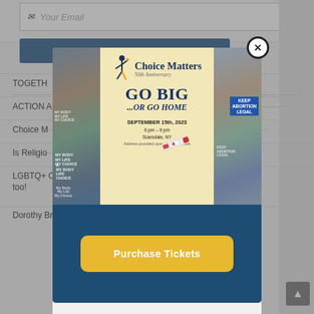Your Email
[Figure (screenshot): Modal popup overlay for Choice Matters 50th Anniversary event 'GO BIG ...OR GO HOME', September 15th, 2023, 6pm-9pm, Scarsdale, NY. Features a flyer with protest photo collage and dancer logo. Bottom has a gold 'Purchase Tickets' button on dark blue background.]
Purchase Tickets
TOGETH
ACTION A
Choice M
Is Religio
LGBTQ+ C ...v. Wade too!
Dorothy Brown, MD – Always remember and never forget